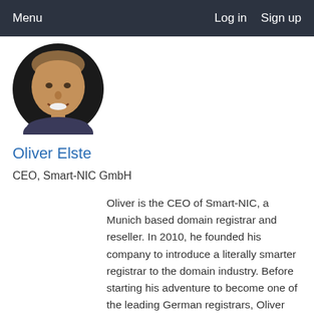Menu   Log in   Sign up
[Figure (photo): Circular profile photo of Oliver Elste, a smiling middle-aged man with short hair against a dark background]
Oliver Elste
CEO, Smart-NIC GmbH
Oliver is the CEO of Smart-NIC, a Munich based domain registrar and reseller. In 2010, he founded his company to introduce a literally smarter registrar to the domain industry. Before starting his adventure to become one of the leading German registrars, Oliver held several positions... Read More →